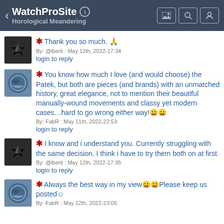WatchProSite — Horological Meandering
❊ Thank you so much. 🙏
By: @lberti : May 12th, 2022-17:34
login to reply
❊ You know how much I love (and would choose) the Patek, but both are pieces (and brands) with an unmatched history, great elegance, not to mention their beautiful manually-wound movements and classy yet modern cases…hard to go wrong either way!😀😀
By: FabR : May 11th, 2022-22:53
login to reply
❊ I know and i understand you. Currently struggling with the same decision. I think i have to try them both on at first.
By: @lberti : May 12th, 2022-17:35
login to reply
❊ Always the best way in my view😀😀Please keep us posted☺
By: FabR : May 12th, 2022-23:05